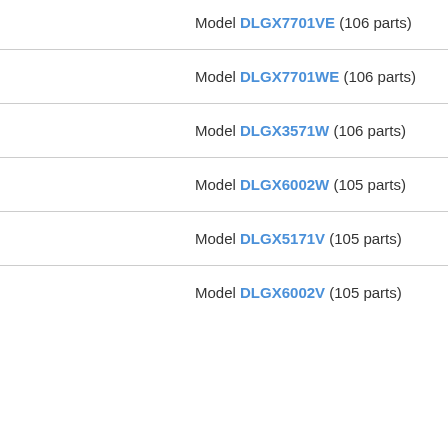Model DLGX7701VE (106 parts)
Model DLGX7701WE (106 parts)
Model DLGX3571W (106 parts)
Model DLGX6002W (105 parts)
Model DLGX5171V (105 parts)
Model DLGX6002V (105 parts)